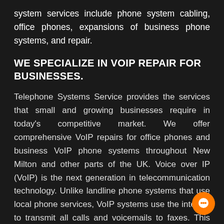system services include phone system cabling, office phones, expansions of business phone systems, and repair.
WE SPECIALIZE IN VOIP REPAIR FOR BUSINESSES.
Telephone Systems Service provides the services that small and growing businesses require in today's competitive market. We offer comprehensive VoIP repairs for office phones and business VoIP phone systems throughout New Milton and other parts of the UK. Voice over IP (VoIP) is the next generation in telecommunication technology. Unlike landline phone systems that use local phone services, VoIP systems use the internet to transmit all calls and voicemails to faxes. This allows your